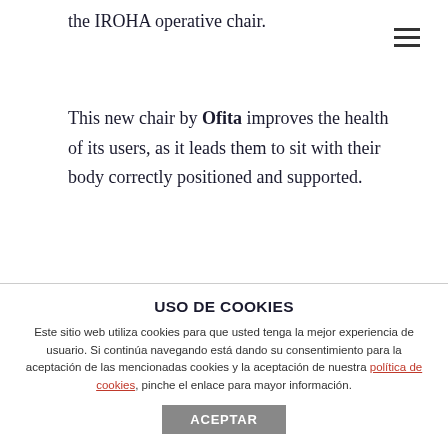the IROHA operative chair.
This new chair by Ofita improves the health of its users, as it leads them to sit with their body correctly positioned and supported.
INTELLIGENT AND AUTOMATIC ERGONOMICS
This is the outstanding feature that makes it unique: thanks to its design, the user does not have to think about how to sit; Irohamanages to seat the user adequately in an unconscious and automatic way.
Iroha applies the knowledge, patented by IHD, of the
USO DE COOKIES
Este sitio web utiliza cookies para que usted tenga la mejor experiencia de usuario. Si continúa navegando está dando su consentimiento para la aceptación de las mencionadas cookies y la aceptación de nuestra política de cookies, pinche el enlace para mayor información.
ACEPTAR